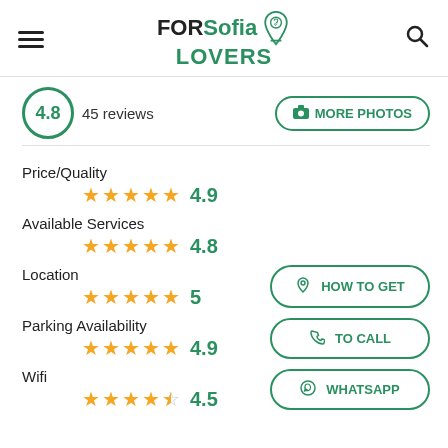FORSofia LOVERS
4.8  45 reviews
MORE PHOTOS
Price/Quality  ★★★★★  4.9
Available Services  ★★★★★  4.8
Location  ★★★★★  5
Parking Availability  ★★★★★  4.9
Wifi  ★★★★☆  4.5
HOW TO GET
TO CALL
WHATSAPP